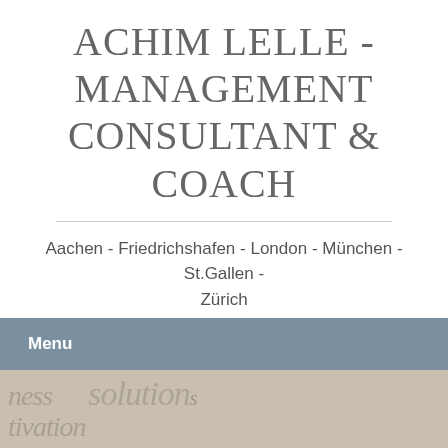ACHIM LELLE - MANAGEMENT CONSULTANT & COACH
Aachen - Friedrichshafen - London - München - St.Gallen - Zürich
Menu
[Figure (photo): Blurred text background image showing words like 'business', 'solution', 'motivation']